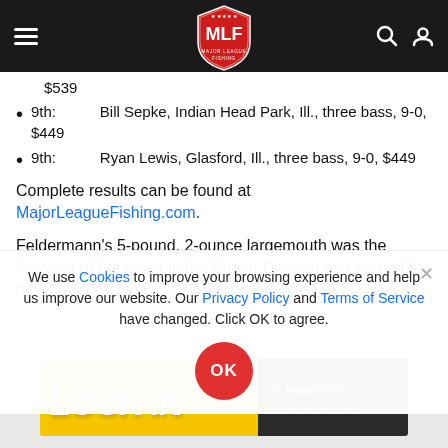MLF Major League Fishing navigation bar
$539
9th:   Bill Sepke, Indian Head Park, Ill., three bass, 9-0, $449
9th:   Ryan Lewis, Glasford, Ill., three bass, 9-0, $449
Complete results can be found at MajorLeagueFishing.com.
Feldermann's 5-pound, 2-ounce largemouth was the heaviest of the event in the Boater Division and earned the day's Berkley Big Bass Boater award of $460.
We use Cookies to improve your browsing experience and help us improve our website. Our Privacy Policy and Terms of Service have changed. Click OK to agree.
[Figure (other): Minn Kota 'AND LOCK IN / EXPLORE ULTREX' advertisement banner]